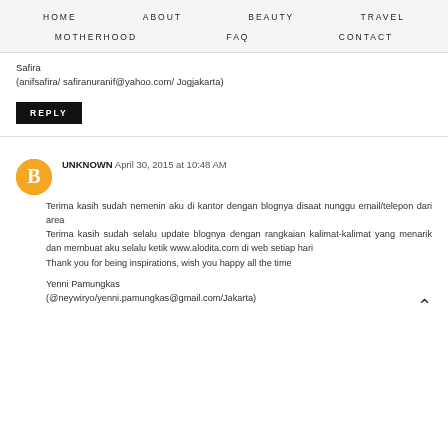HOME   ABOUT   BEAUTY   TRAVEL   MOTHERHOOD   FAQ   CONTACT
Safira
(anifsafira/ safiranuranif@yahoo.com/ Jogjakarta)
REPLY
UNKNOWN April 30, 2015 at 10:48 AM
Terima kasih sudah nemenin aku di kantor dengan blognya disaat nunggu email/telepon dari area
Terima kasih sudah selalu update blognya dengan rangkaian kalimat-kalimat yang menarik dan membuat aku selalu ketik www.alodita.com di web setiap hari
Thank you for being inspirations, wish you happy all the time

Yenni Pamungkas
(@neywiryo/yenni.pamungkas@gmail.com/Jakarta)